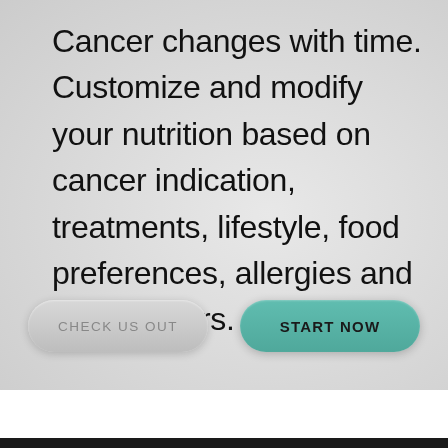Cancer changes with time. Customize and modify your nutrition based on cancer indication, treatments, lifestyle, food preferences, allergies and other factors.
[Figure (other): Two buttons: 'CHECK US OUT' (light gray pill button) and 'START NOW' (teal/green pill button)]